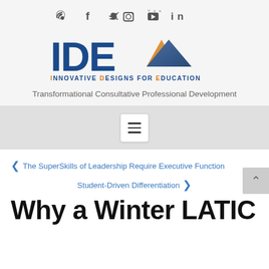Social icons: RSS, Facebook, Twitter, Instagram, YouTube, LinkedIn
[Figure (logo): IDEA logo — letters IDE in bold blue, triangle graphic in blue/gold gradient, text INNOVATIVE DESIGNS FOR EDUCATION below in blue and orange]
Transformational Consultative Professional Development
[Figure (other): Navigation hamburger menu button (three horizontal lines) on grey background]
< The SuperSkills of Leadership Require Executive Function
Student-Driven Differentiation >
Why a Winter LATIC